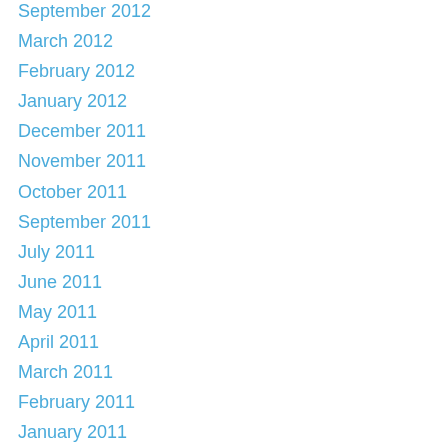September 2012
March 2012
February 2012
January 2012
December 2011
November 2011
October 2011
September 2011
July 2011
June 2011
May 2011
April 2011
March 2011
February 2011
January 2011
December 2010
November 2010
October 2010
September 2010
August 2010